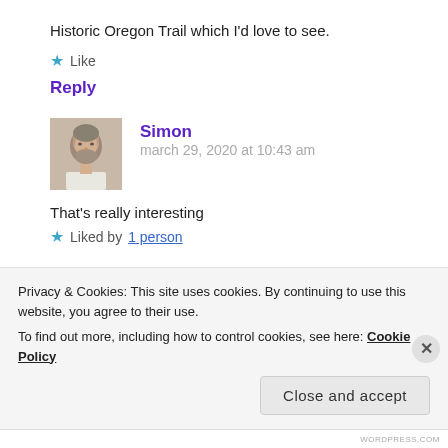Historic Oregon Trail which I'd love to see.
★ Like
Reply
[Figure (photo): Profile photo of Simon, a middle-aged man with a beard, wearing a white t-shirt]
Simon
march 29, 2020 at 10:43 am
That's really interesting
★ Liked by 1 person
Privacy & Cookies: This site uses cookies. By continuing to use this website, you agree to their use.
To find out more, including how to control cookies, see here: Cookie Policy
Close and accept